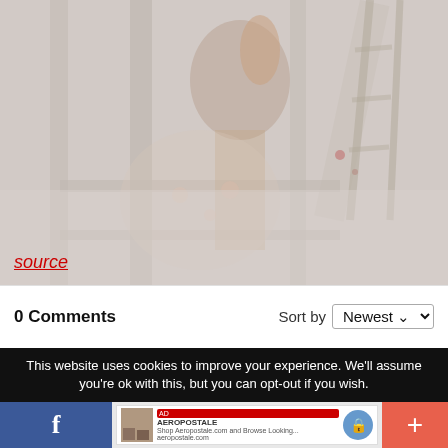[Figure (photo): Faded/washed-out photo showing a person with hands visible, standing near wooden shelves or a ladder-like structure, wearing a floral patterned garment.]
source
0 Comments
Sort by Newest
This website uses cookies to improve your experience. We'll assume you're ok with this, but you can opt-out if you wish.
[Figure (screenshot): Bottom navigation bar with Facebook button, an advertisement banner (Aeropostale), and a plus button.]